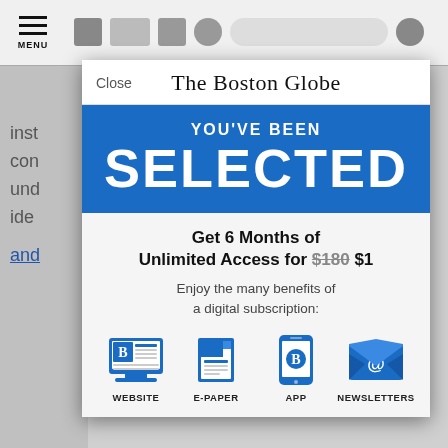[Figure (screenshot): Boston Globe subscription modal overlay on a news website. Shows 'YOU'VE BEEN SELECTED' banner in blue, offer for 6 months unlimited access for $1 (crossed out $180), and four benefit icons: Website, E-Paper, App, Newsletters.]